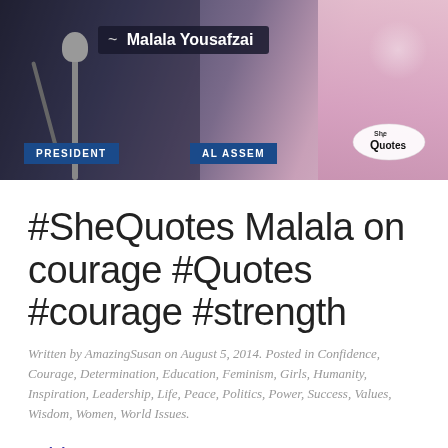[Figure (photo): Video screenshot showing Malala Yousafzai at a microphone with a name badge overlay reading '~ Malala Yousafzai', UN-style signage reading PRESIDENT and AL ASSEM, and a SheQuotes logo in the lower right. Pink clothing visible on the right side.]
#SheQuotes Malala on courage #Quotes #courage #strength
Written by AmazingSusan on August 5, 2014. Posted in Confidence, Courage, Determination, Education, Feminism, Girls, Humanity, Inspiration, Leadership, Life, Peace, Politics, Power, Success, Values, Wisdom, Women, World Issues.
Malala on courage.